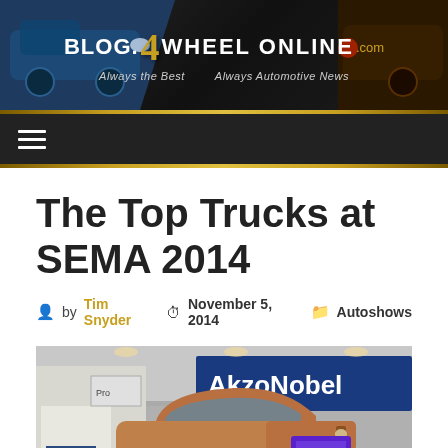[Figure (screenshot): Blog.4WheelOnline.com website header banner with logo, tagline 'Always the Best Always Automotive News', car images on left and right]
[Figure (screenshot): Dark navigation bar with hamburger menu icon (three horizontal lines)]
The Top Trucks at SEMA 2014
by Tim Snyder  November 5, 2014  Autoshows
[Figure (photo): Photo of a vintage truck (copper/metallic color) at a SEMA show booth with AkzoNobel signage in the background, blue/purple screen visible]